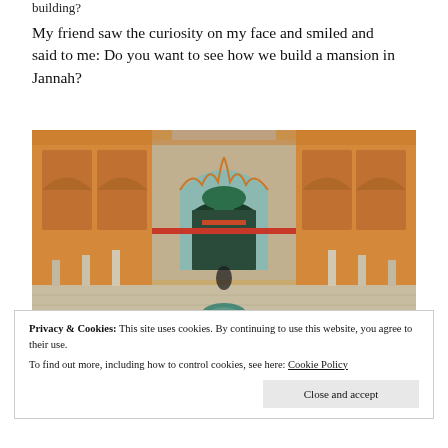building?
My friend saw the curiosity on my face and smiled and said to me: Do you want to see how we build a mansion in Jannah?
[Figure (photo): Ornate Moroccan palace courtyard with intricate carved archways, decorated columns, colorful tilework, and a central fountain. The architecture features elaborate geometric and floral patterns in orange, gold, and red tones with a green domed structure visible in the background.]
Privacy & Cookies: This site uses cookies. By continuing to use this website, you agree to their use.
To find out more, including how to control cookies, see here: Cookie Policy
Close and accept